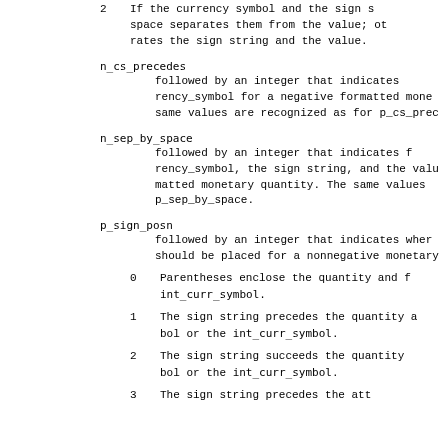2   If the currency symbol and the sign s space separates them from the value; ot rates the sign string and the value.
n_cs_precedes followed by an integer that indicates rency_symbol for a negative formatted mone same values are recognized as for p_cs_prec
n_sep_by_space followed by an integer that indicates rency_symbol, the sign string, and the valu matted monetary quantity. The same values p_sep_by_space.
p_sign_posn followed by an integer that indicates wher should be placed for a nonnegative monetary
0   Parentheses enclose the quantity and f int_curr_symbol.
1   The sign string precedes the quantity a bol or the int_curr_symbol.
2   The sign string succeeds the quantity bol or the int_curr_symbol.
3   The sign string precedes the att...